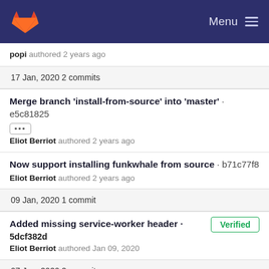GitLab · Menu
popi authored 2 years ago
17 Jan, 2020 2 commits
Merge branch 'install-from-source' into 'master' · e5c81825
[...] Eliot Berriot authored 2 years ago
Now support installing funkwhale from source · b71c77f8
Eliot Berriot authored 2 years ago
09 Jan, 2020 1 commit
Added missing service-worker header · 5dcf382d
Eliot Berriot authored Jan 09, 2020 [Verified]
07 Jan, 2020 2 commits
Merge branch 'ci' into 'master' · bc0526ba [...]
Eliot Berriot authored Jan 07, 2020